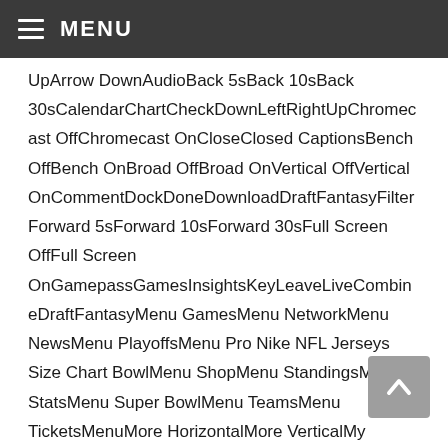MENU
UpArrow DownAudioBack 5sBack 10sBack 30sCalendarChartCheckDownLeftRightUpChromecast OffChromecast OnCloseClosed CaptionsBench OffBench OnBroad OffBroad OnVertical OffVertical OnCommentDockDoneDownloadDraftFantasyFilterForward 5sForward 10sForward 30sFull Screen OffFull Screen OnGamepassGamesInsightsKeyLeaveLiveCombineDraftFantasyMenu GamesMenu NetworkMenu NewsMenu PlayoffsMenu Pro Nike NFL Jerseys Size Chart BowlMenu ShopMenu StandingsMenu StatsMenu Super BowlMenu TeamsMenu TicketsMenuMore HorizontalMore VerticalMy LocationNetworkNewsPauseplayMultiple PlayersSingle PlayerPlaylistPlayoffsPro BowlPurgeRefreshRemoveReplaySearchSettingsShare AndroidShare Copy URLShare EmailShare FacebookShare InstagramShare iOSShare SnapchatShare TwitterSkip NextSki